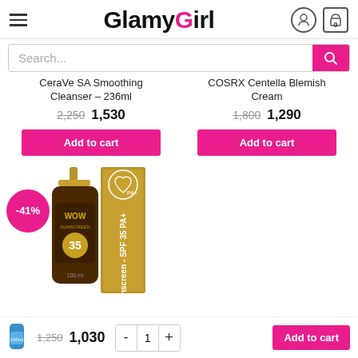GlamyGirl
Search...
CeraVe SA Smoothing Cleanser – 236ml
2,250  1,530
Add to cart
COSRX Centella Blemish Cream
1,800  1,290
Add to cart
[Figure (photo): WOW Sunscreen SPF 35 PA+ product bottle and packaging, with -41% discount badge]
-41%
1,250  1,030  - 1 +  Add to cart